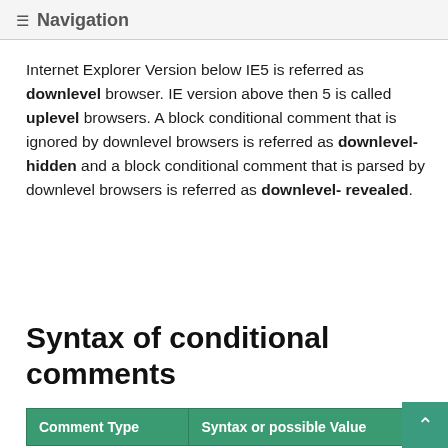≡ Navigation
Internet Explorer Version below IE5 is referred as downlevel browser. IE version above then 5 is called uplevel browsers. A block conditional comment that is ignored by downlevel browsers is referred as downlevel- hidden and a block conditional comment that is parsed by downlevel browsers is referred as downlevel- revealed.
Syntax of conditional comments
| Comment Type | Syntax or possible Value |
| --- | --- |